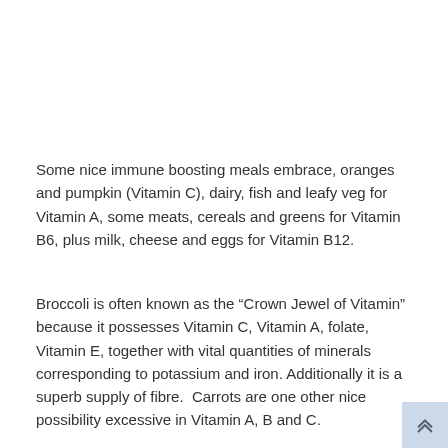Some nice immune boosting meals embrace, oranges and pumpkin (Vitamin C), dairy, fish and leafy veg for Vitamin A, some meats, cereals and greens for Vitamin B6, plus milk, cheese and eggs for Vitamin B12.
Broccoli is often known as the “Crown Jewel of Vitamin” because it possesses Vitamin C, Vitamin A, folate, Vitamin E, together with vital quantities of minerals corresponding to potassium and iron. Additionally it is a superb supply of fibre.  Carrots are one other nice possibility excessive in Vitamin A, B and C.